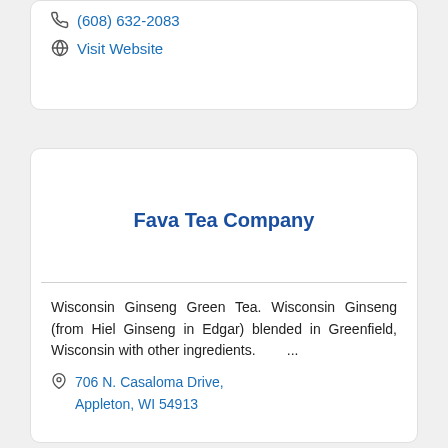Perryville, WI 54026
(608) 632-2083
Visit Website
Fava Tea Company
Wisconsin Ginseng Green Tea. Wisconsin Ginseng (from Hiel Ginseng in Edgar) blended in Greenfield, Wisconsin with other ingredients. ...
706 N. Casaloma Drive, Appleton, WI 54913